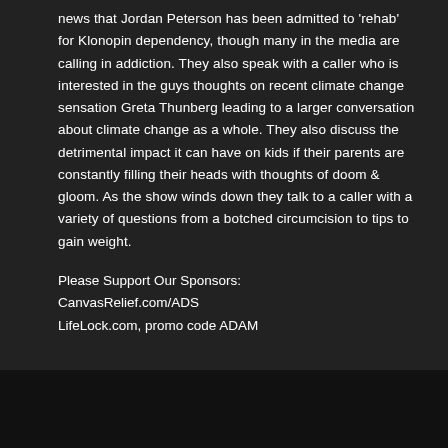news that Jordan Peterson has been admitted to 'rehab' for Klonopin dependency, though many in the media are calling in addiction. They also speak with a caller who is interested in the guys thoughts on recent climate change sensation Greta Thunberg leading to a larger conversation about climate change as a whole. They also discuss the detrimental impact it can have on kids if their parents are constantly filling their heads with thoughts of doom & gloom. As the show winds down they talk to a caller with a variety of questions from a botched circumcision to tips to gain weight.
Please Support Our Sponsors:
CanvasRelief.com/ADS
LifeLock.com, promo code ADAM